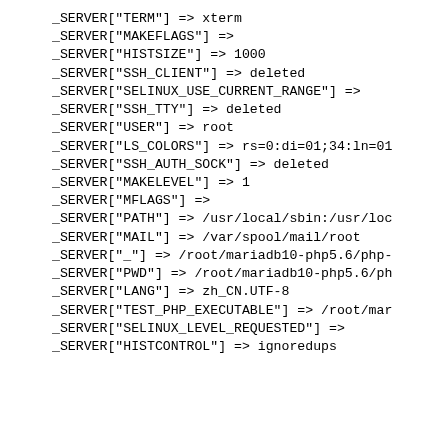_SERVER["TERM"] => xterm
_SERVER["MAKEFLAGS"] =>
_SERVER["HISTSIZE"] => 1000
_SERVER["SSH_CLIENT"] => deleted
_SERVER["SELINUX_USE_CURRENT_RANGE"] =>
_SERVER["SSH_TTY"] => deleted
_SERVER["USER"] => root
_SERVER["LS_COLORS"] => rs=0:di=01;34:ln=01
_SERVER["SSH_AUTH_SOCK"] => deleted
_SERVER["MAKELEVEL"] => 1
_SERVER["MFLAGS"] =>
_SERVER["PATH"] => /usr/local/sbin:/usr/loc
_SERVER["MAIL"] => /var/spool/mail/root
_SERVER["_"] => /root/mariadb10-php5.6/php-
_SERVER["PWD"] => /root/mariadb10-php5.6/ph
_SERVER["LANG"] => zh_CN.UTF-8
_SERVER["TEST_PHP_EXECUTABLE"] => /root/mar
_SERVER["SELINUX_LEVEL_REQUESTED"] =>
_SERVER["HISTCONTROL"] => ignoredups